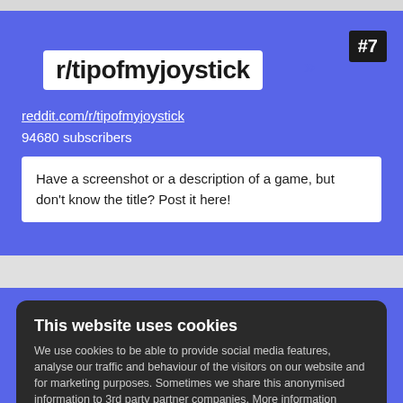r/tipofmyjoystick
reddit.com/r/tipofmyjoystick
94680 subscribers
Have a screenshot or a description of a game, but don't know the title? Post it here!
This website uses cookies
We use cookies to be able to provide social media features, analyse our traffic and behaviour of the visitors on our website and for marketing purposes. Sometimes we share this anonymised information to 3rd party partner companies. More information
I accept all Cookies
Change settings